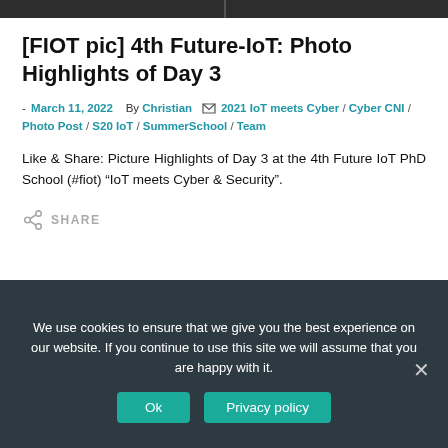[Figure (photo): Dark image bar at the top of the page with a vertical divider line in the center]
[FIOT pic] 4th Future-IoT: Photo Highlights of Day 3
- March 11, 2022   By Christian   2021 IoT meets Cyber / Cyber CNI / Photo Post / S20 IoT / SummerSchool / Team
Like & Share: Picture Highlights of Day 3 at the 4th Future IoT PhD School (#fiot) “IoT meets Cyber & Security”.
SHARE
We use cookies to ensure that we give you the best experience on our website. If you continue to use this site we will assume that you are happy with it.